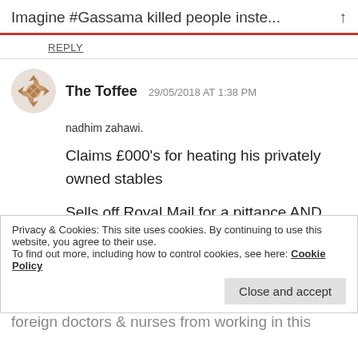Imagine #Gassama killed people inste... ↑
REPLY
The Toffee  29/05/2018 AT 1:38 PM
nadhim zahawi.
Claims £000's for heating his privately owned stables
Sells off Royal Mail for a pittance AND cracks
Privacy & Cookies: This site uses cookies. By continuing to use this website, you agree to their use.
To find out more, including how to control cookies, see here: Cookie Policy
Close and accept
foreign doctors & nurses from working in this